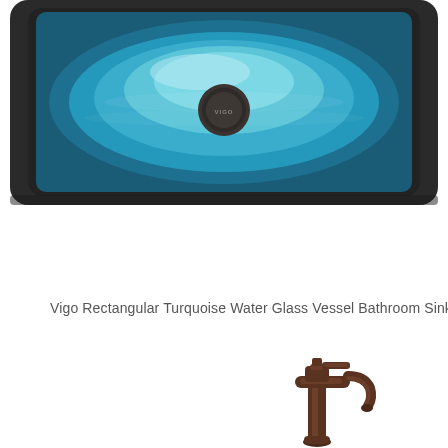[Figure (photo): Close-up top view of a rectangular turquoise water glass vessel bathroom sink with dark charcoal/black exterior rim, featuring a circular dark drain in the center with VIGO branding. The sink interior shows a gradient of turquoise/blue tones with lighter center.]
Vigo Rectangular Turquoise Water Glass Vessel Bathroom Sink
[Figure (photo): Partial view of a bronze/oil-rubbed bronze finish bathroom faucet, showing the spout and handle from a side angle.]